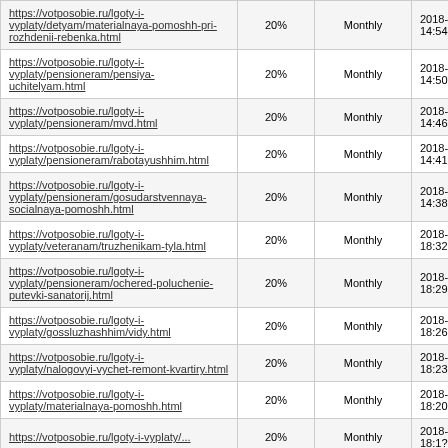| https://votposobie.ru/lgoty-i-vyplaty/detyam/materialnaya-pomoshh-pri-rozhdenii-rebenka.html | 20% | Monthly | 2018-10-29 14:54 |
| https://votposobie.ru/lgoty-i-vyplaty/pensioneram/pensiya-uchitelyam.html | 20% | Monthly | 2018-10-29 14:50 |
| https://votposobie.ru/lgoty-i-vyplaty/pensioneram/mvd.html | 20% | Monthly | 2018-10-29 14:46 |
| https://votposobie.ru/lgoty-i-vyplaty/pensioneram/rabotayushhim.html | 20% | Monthly | 2018-10-29 14:41 |
| https://votposobie.ru/lgoty-i-vyplaty/pensioneram/gosudarstvennaya-socialnaya-pomoshh.html | 20% | Monthly | 2018-10-29 14:38 |
| https://votposobie.ru/lgoty-i-vyplaty/veteranam/truzhenikam-tyla.html | 20% | Monthly | 2018-10-28 18:32 |
| https://votposobie.ru/lgoty-i-vyplaty/pensioneram/ochered-poluchenie-putevki-sanatorij.html | 20% | Monthly | 2018-10-28 18:29 |
| https://votposobie.ru/lgoty-i-vyplaty/gossluzhashhim/vidy.html | 20% | Monthly | 2018-10-28 18:26 |
| https://votposobie.ru/lgoty-i-vyplaty/nalogovyi-vychet-remont-kvartiry.html | 20% | Monthly | 2018-10-28 18:23 |
| https://votposobie.ru/lgoty-i-vyplaty/materialnaya-pomoshh.html | 20% | Monthly | 2018-10-28 18:20 |
| https://votposobie.ru/lgoty-i-vyplaty/... | 20% | Monthly | 2018-10-28 18:1? |